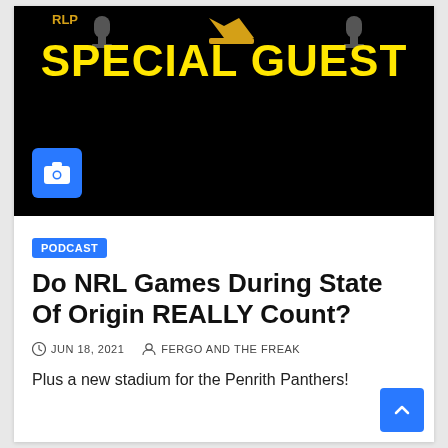[Figure (screenshot): Black background podcast promotional image with 'SPECIAL GUEST' in large yellow bold text, 'RLP' label, trophy/goblet icons, and a blue camera icon button in the lower left.]
PODCAST
Do NRL Games During State Of Origin REALLY Count?
JUN 18, 2021   FERGO AND THE FREAK
Plus a new stadium for the Penrith Panthers!